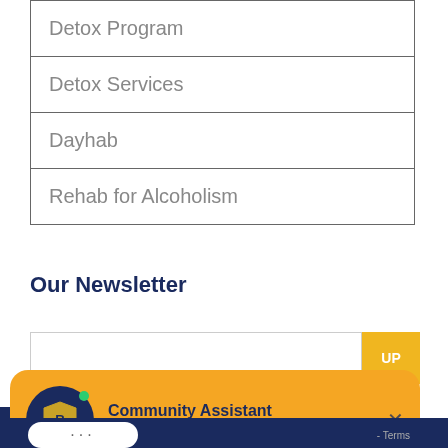| Detox Program |
| Detox Services |
| Dayhab |
| Rehab for Alcoholism |
Our Newsletter
[Figure (screenshot): Email signup bar with text input field and yellow 'UP' button]
[Figure (screenshot): Orange chat widget showing Community Assistant from Royal Life Centers with close button, overlaid on dark navy footer with white chat input bubble showing ellipsis]